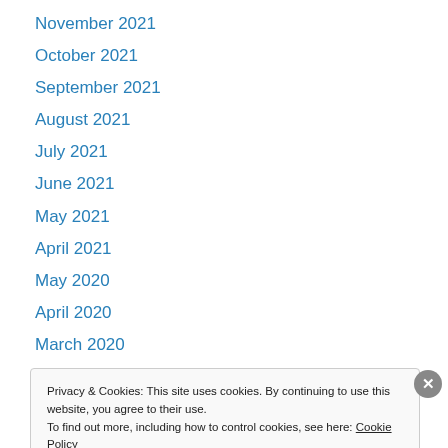November 2021
October 2021
September 2021
August 2021
July 2021
June 2021
May 2021
April 2021
May 2020
April 2020
March 2020
February 2020
January 2020
Privacy & Cookies: This site uses cookies. By continuing to use this website, you agree to their use. To find out more, including how to control cookies, see here: Cookie Policy
Close and accept